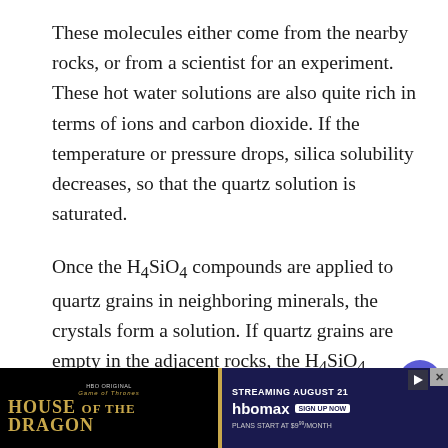These molecules either come from the nearby rocks, or from a scientist for an experiment. These hot water solutions are also quite rich in terms of ions and carbon dioxide. If the temperature or pressure drops, silica solubility decreases, so that the quartz solution is saturated.
Once the H4SiO4 compounds are applied to quartz grains in neighboring minerals, the crystals form a solution. If quartz grains are empty in the adjacent rocks, the H4SiO4 molecules add to form small floating crystals that bind H4SiO4 molecules more and more.
[Figure (other): Advertisement banner for House of the Dragon on HBO Max showing streaming August 21, plans start at $9.99/month, with close and play buttons]